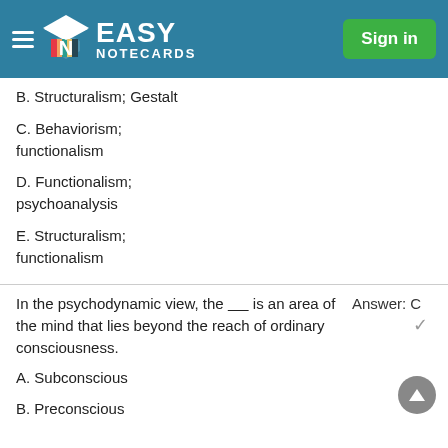Easy Notecards — Sign in
B. Structuralism; Gestalt
C. Behaviorism; functionalism
D. Functionalism; psychoanalysis
E. Structuralism; functionalism
In the psychodynamic view, the _____ is an area of the mind that lies beyond the reach of ordinary consciousness.
Answer: C
A. Subconscious
B. Preconscious